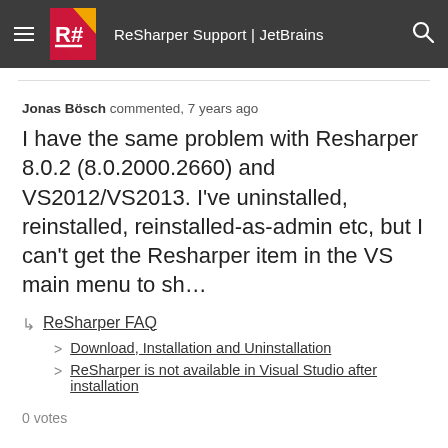ReSharper Support | JetBrains
Jonas Bösch commented, 7 years ago
I have the same problem with Resharper 8.0.2 (8.0.2000.2660) and VS2012/VS2013. I've uninstalled, reinstalled, reinstalled-as-admin etc, but I can't get the Resharper item in the VS main menu to sh...
ReSharper FAQ > Download, Installation and Uninstallation > ReSharper is not available in Visual Studio after installation
0 votes